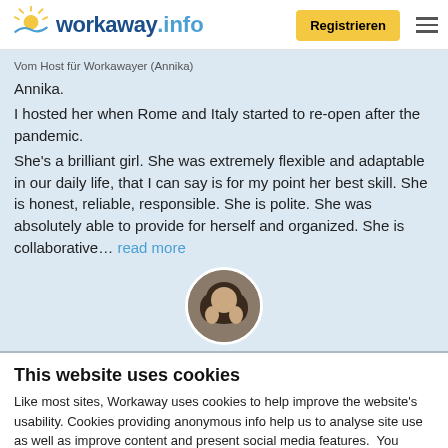workaway.info — Registrieren
Vom Host für Workawayer (Annika)
Annika.
I hosted her when Rome and Italy started to re-open after the pandemic.
She's a brilliant girl. She was extremely flexible and adaptable in our daily life, that I can say is for my point her best skill. She is honest, reliable, responsible. She is polite. She was absolutely able to provide for herself and organized. She is collaborative... read more
[Figure (photo): Round profile photo of a person with dark hair, viewed from above/behind]
This website uses cookies
Like most sites, Workaway uses cookies to help improve the website's usability. Cookies providing anonymous info help us to analyse site use as well as improve content and present social media features.  You consent to our cookies if you continue to use our website.
OK    Settings